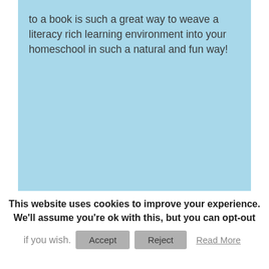to a book is such a great way to weave a literacy rich learning environment into your homeschool in such a natural and fun way!
This website uses cookies to improve your experience. We'll assume you're ok with this, but you can opt-out if you wish. Accept Reject Read More